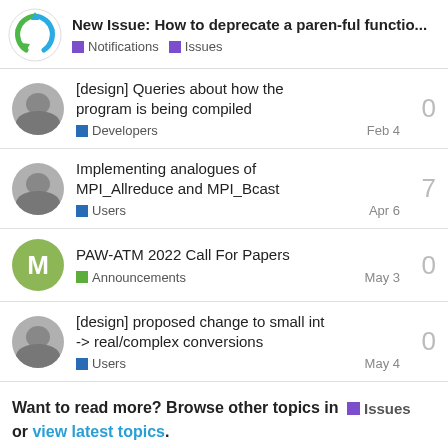New Issue: How to deprecate a paren-ful functio... | Notifications | Issues
[design] Queries about how the program is being compiled | Developers | Feb 4 | 0 replies
Implementing analogues of MPI_Allreduce and MPI_Bcast | Users | Apr 6 | 7 replies
PAW-ATM 2022 Call For Papers | Announcements | May 3 | 0 replies
[design] proposed change to small int -> real/complex conversions | Users | May 4 | 0 replies
Want to read more? Browse other topics in Issues or view latest topics.